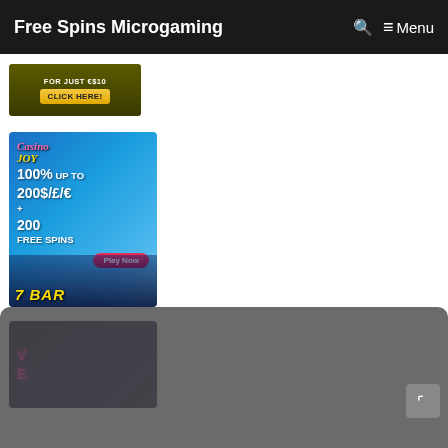Free Spins Microgaming   🔍  ≡ Menu
[Figure (advertisement): Dark olive-colored banner ad: 'FOR JUST €$10' with yellow 'CLICK HERE!' button]
[Figure (advertisement): Casino Joy banner: 100% UP TO 200$/£/€ + 200 FREE SPINS, colorful casino slots theme, Play Now button]
[Figure (advertisement): Dark casino banner partially visible, pink glowing text]
[Figure (other): Email subscription modal with 'Email *' input field and 'Get Exclusive Bonuses!' green button, with X close button]